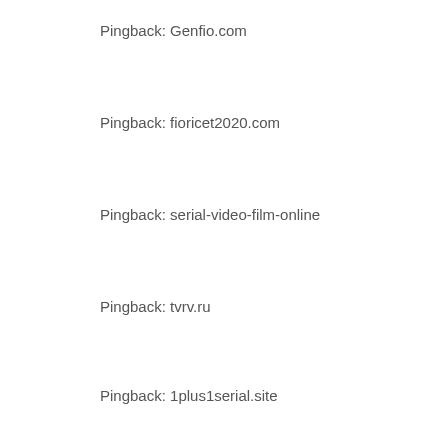Pingback: Genfio.com
Pingback: fioricet2020.com
Pingback: serial-video-film-online
Pingback: tvrv.ru
Pingback: 1plus1serial.site
Pingback: #1plus1